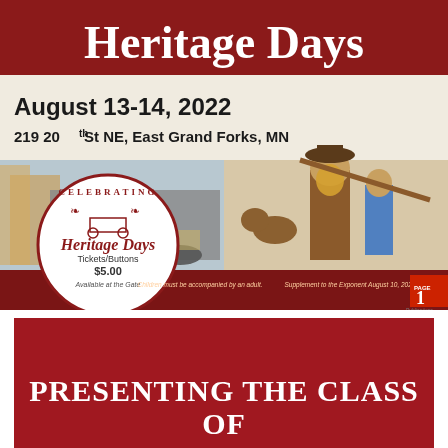[Figure (illustration): Heritage Days event poster for August 13-14, 2022 at 219 20th St NE, East Grand Forks, MN. Features photos of farm machinery/threshing equipment on the left and wood-carved folk art figures (bearded farmer with hat, dog, woman in blue dress) on the right. A circular badge in the lower left reads 'Celebrating Heritage Days Tickets/Buttons $5.00 Available at the Gate'. Text at bottom: 'Children must be accompanied by an adult.' and 'Supplement to the Exponent August 10, 2022'. Page 1 Publications logo in lower right.]
PRESENTING THE CLASS OF